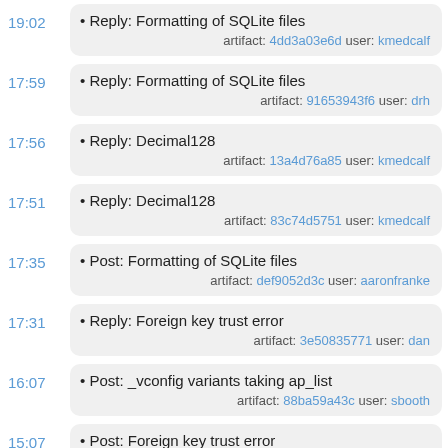19:02 • Reply: Formatting of SQLite files artifact: 4dd3a03e6d user: kmedcalf
17:59 • Reply: Formatting of SQLite files artifact: 91653943f6 user: drh
17:56 • Reply: Decimal128 artifact: 13a4d76a85 user: kmedcalf
17:51 • Reply: Decimal128 artifact: 83c74d5751 user: kmedcalf
17:35 • Post: Formatting of SQLite files artifact: def9052d3c user: aaronfranke
17:31 • Reply: Foreign key trust error artifact: 3e50835771 user: dan
16:07 • Post: _vconfig variants taking ap_list artifact: 88ba59a43c user: sbooth
15:07 • Post: Foreign key trust error